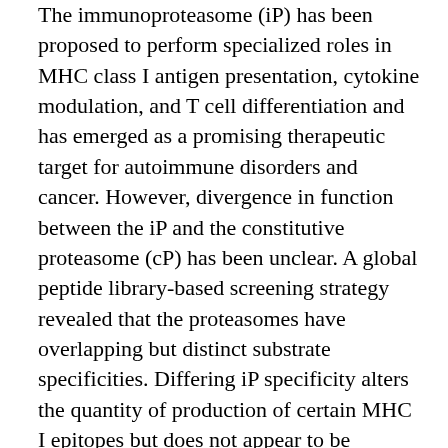The immunoproteasome (iP) has been proposed to perform specialized roles in MHC class I antigen presentation, cytokine modulation, and T cell differentiation and has emerged as a promising therapeutic target for autoimmune disorders and cancer. However, divergence in function between the iP and the constitutive proteasome (cP) has been unclear. A global peptide library-based screening strategy revealed that the proteasomes have overlapping but distinct substrate specificities. Differing iP specificity alters the quantity of production of certain MHC I epitopes but does not appear to be preferentially suited for antigen presentation. Furthermore, iP specificity was found to have likely arisen through genetic drift from the ancestral cP. Specificity differences were exploited to develop isoform-selective substrates. Cellular profiling using these substrates revealed that divergence in regulation of the iP balances its